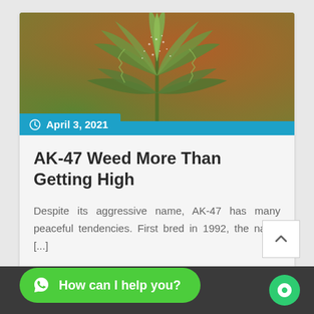[Figure (photo): Close-up photo of a cannabis plant with green and slightly frosted leaves against a blurred orange-green background]
April 3, 2021
AK-47 Weed More Than Getting High
Despite its aggressive name, AK-47 has many peaceful tendencies. First bred in 1992, the name [...]
How can I help you?